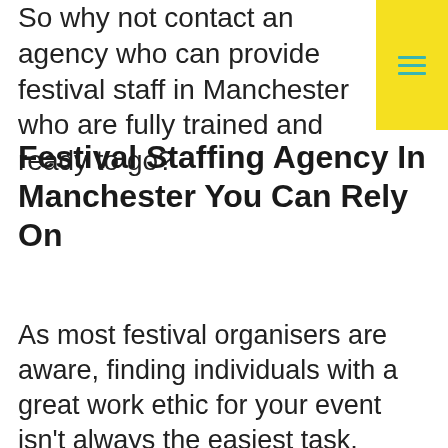So why not contact an agency who can provide festival staff in Manchester who are fully trained and ready to go?
[Figure (other): Yellow menu button with teal hamburger icon in top right corner]
Festival Staffing Agency In Manchester You Can Rely On
As most festival organisers are aware, finding individuals with a great work ethic for your event isn't always the easiest task, especially when it's at short notice.